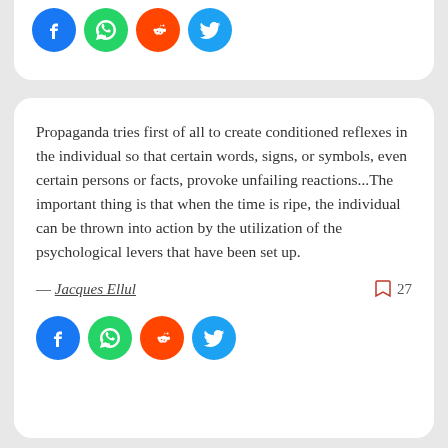[Figure (other): Social share buttons (Facebook, WhatsApp, Reddit, Twitter) at the top of the page]
Propaganda tries first of all to create conditioned reflexes in the individual so that certain words, signs, or symbols, even certain persons or facts, provoke unfailing reactions...The important thing is that when the time is ripe, the individual can be thrown into action by the utilization of the psychological levers that have been set up.
— Jacques Ellul   27
[Figure (other): Social share buttons (Facebook, WhatsApp, Reddit, Twitter) at the bottom of the card]